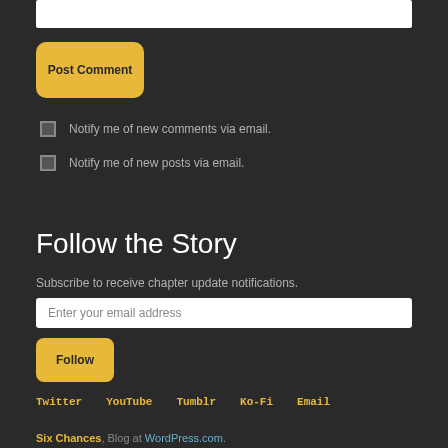[text input field at top]
Post Comment
Notify me of new comments via email.
Notify me of new posts via email.
Follow the Story
Subscribe to receive chapter update notifications.
[Enter your email address — input field]
Follow
Twitter   YouTube   Tumblr   Ko-Fi   Email
Six Chances, Blog at WordPress.com.